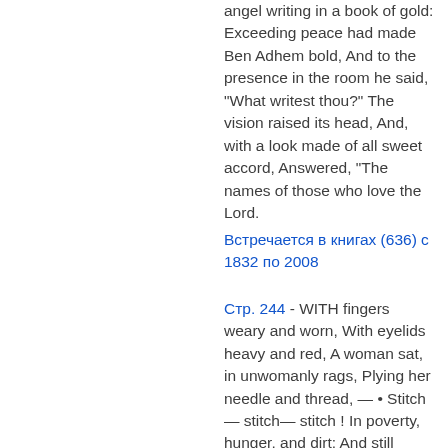angel writing in a book of gold: Exceeding peace had made Ben Adhem bold, And to the presence in the room he said, "What writest thou?" The vision raised its head, And, with a look made of all sweet accord, Answered, "The names of those who love the Lord.
Встречается в книгах (636) с 1832 по 2008
Стр. 244 - WITH fingers weary and worn, With eyelids heavy and red, A woman sat, in unwomanly rags, Plying her needle and thread, — • Stitch— stitch— stitch ! In poverty, hunger, and dirt: And still